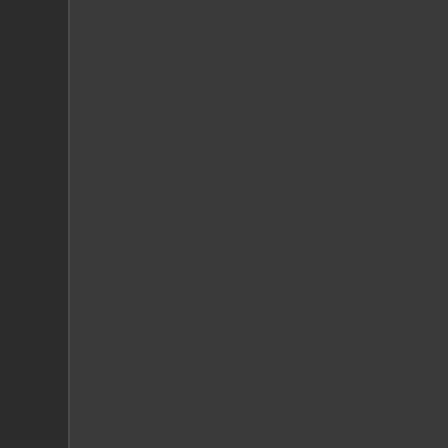Dramatically, maybe not, but s
- The Vagabond has a smaller
Yes.
- The Vagabond has better ra
Not really.
- The Vagabond tracks almost
Okay, I suppose, I didn't chec
- The Vagabond has similar ki
No.
I usually agree with you Liang, bu
What's range ? What does "The V better DPS than the Talos at a ra